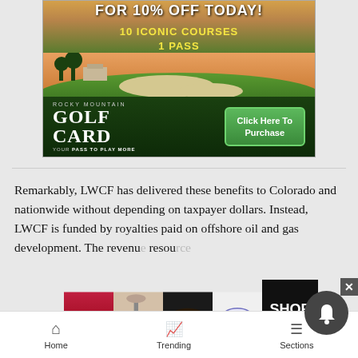[Figure (photo): Rocky Mountain Golf Card advertisement banner showing golf course with text 'FOR 10% OFF TODAY!', '10 ICONIC COURSES', '1 PASS', and 'Click Here To Purchase' button]
Remarkably, LWCF has delivered these benefits to Colorado and nationwide without depending on taxpayer dollars. Instead, LWCF is funded by royalties paid on offshore oil and gas development. The revenue... resou... c
[Figure (photo): Ulta Beauty advertisement banner with makeup/beauty product images and 'SHOP NOW' text]
[Figure (screenshot): Notification bell icon (dark circle with bell)]
Home   Trending   Sections